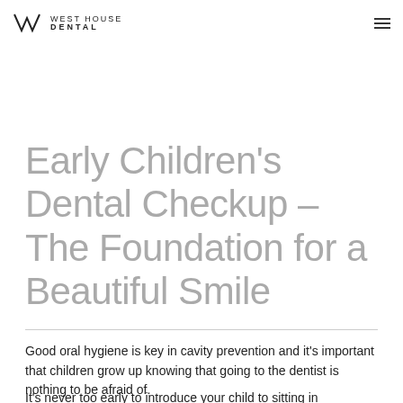WEST HOUSE DENTAL
professional care for babies, toddlers and kids, using a friendly and considerate approach.
Early Children's Dental Checkup – The Foundation for a Beautiful Smile
Good oral hygiene is key in cavity prevention and it's important that children grow up knowing that going to the dentist is nothing to be afraid of.
It's never too early to introduce your child to sitting in